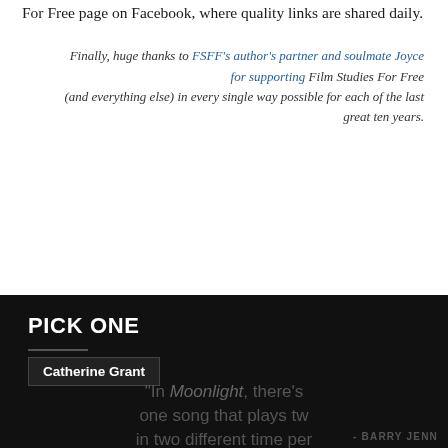For Free page on Facebook, where quality links are shared daily.
Finally, huge thanks to FSFF's author's partner and soulmate Joyce for supporting Film Studies For Free (and everything else) in every single way possible for each of the last great ten years.
PICK ONE
Catherine Grant
"In Moonlight, there's one song that plays tw in two different time per
- BARRY JENN